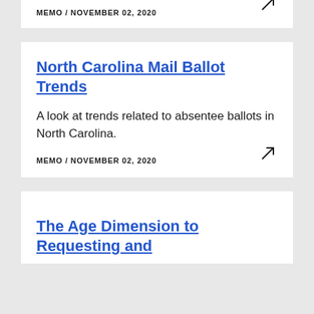MEMO / NOVEMBER 02, 2020
North Carolina Mail Ballot Trends
A look at trends related to absentee ballots in North Carolina.
MEMO / NOVEMBER 02, 2020
The Age Dimension to Requesting and